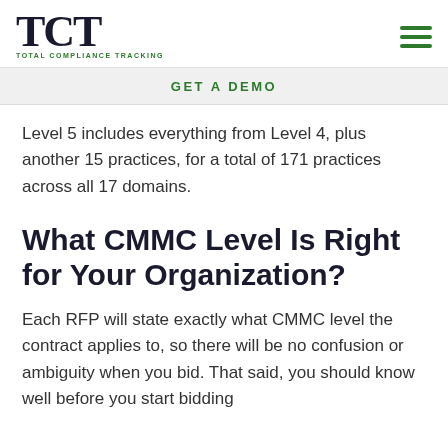TCT TOTAL COMPLIANCE TRACKING
GET A DEMO
Level 5 includes everything from Level 4, plus another 15 practices, for a total of 171 practices across all 17 domains.
What CMMC Level Is Right for Your Organization?
Each RFP will state exactly what CMMC level the contract applies to, so there will be no confusion or ambiguity when you bid. That said, you should know well before you start bidding